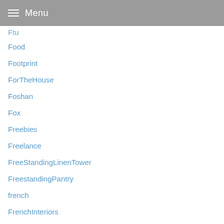Menu
Ftu
Food
Footprint
ForTheHouse
Foshan
Fox
Freebies
Freelance
FreeStandingLinenTower
FreestandingPantry
french
FrenchInteriors
FreshenUpMattressWithBakingSoda
FriezeCarpet
FrugalTips
Fruit
FullTimeRvLiving